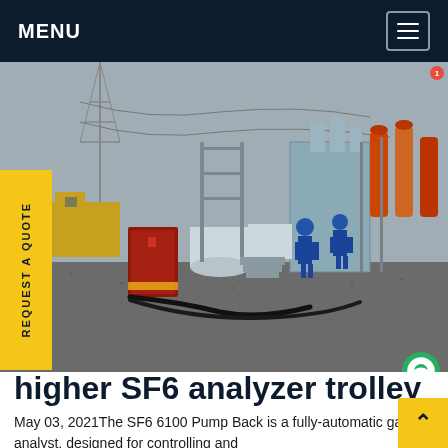MENU
[Figure (photo): Industrial electrical substation with large transformer equipment, pipes, and two workers in blue protective gear. Red metal cabinet in foreground, gravel ground, electrical towers in background. SF6China watermark in lower right.]
REQUEST A QUOTE
higher SF6 analyzer trolley
May 03, 2021The SF6 6100 Pump Back is a fully-automatic gas analyst, designed for controlling and